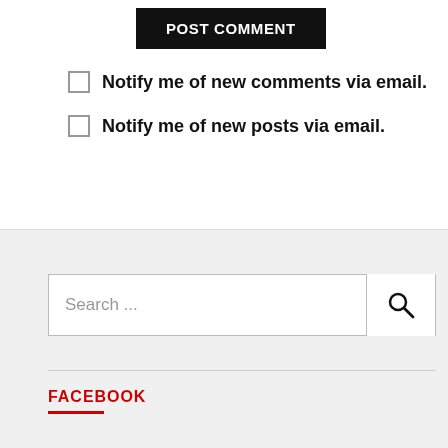POST COMMENT
Notify me of new comments via email.
Notify me of new posts via email.
Search ...
FACEBOOK